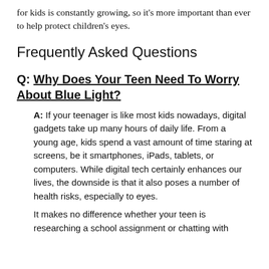for kids is constantly growing, so it's more important than ever to help protect children's eyes.
Frequently Asked Questions
Q: Why Does Your Teen Need To Worry About Blue Light?
A: If your teenager is like most kids nowadays, digital gadgets take up many hours of daily life. From a young age, kids spend a vast amount of time staring at screens, be it smartphones, iPads, tablets, or computers. While digital tech certainly enhances our lives, the downside is that it also poses a number of health risks, especially to eyes.
It makes no difference whether your teen is researching a school assignment or chatting with